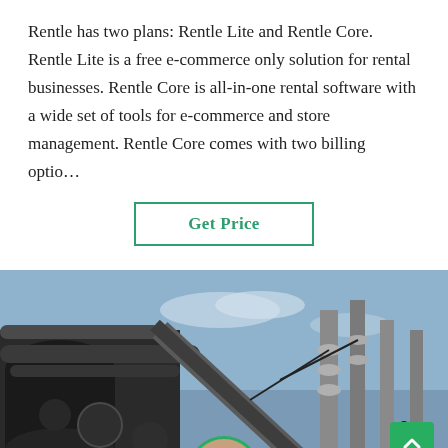Rentle has two plans: Rentle Lite and Rentle Core. Rentle Lite is a free e-commerce only solution for rental businesses. Rentle Core is all-in-one rental software with a wide set of tools for e-commerce and store management. Rentle Core comes with two billing optio…
[Figure (other): Button with teal border and green text reading 'Get Price']
[Figure (photo): Industrial machinery/electrical substation photo showing large pipes, turbines, and electrical equipment under a partly cloudy sky.]